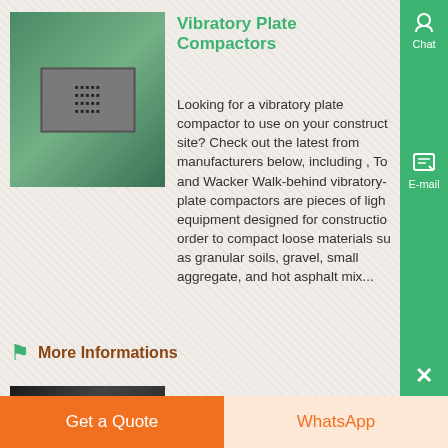[Figure (photo): Vibratory plate compactor product image showing nameplate/label on green surface]
Vibratory Plate Compactors
Looking for a vibratory plate compactor to use on your construction site? Check out the latest from manufacturers below, including , To and Wacker Walk-behind vibratory-plate compactors are pieces of light equipment designed for construction order to compact loose materials such as granular soils, gravel, small aggregate, and hot asphalt mix...
More Informations
[Figure (photo): Second product thumbnail - dark machinery photo]
VIBRATORY PLATE